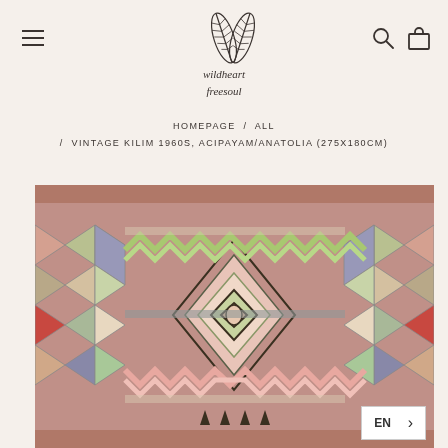[Figure (logo): Two feathers forming a V shape, logo for 'wildheart freesoul' brand]
wildheart
freesoul
HOMEPAGE / ALL / VINTAGE KILIM 1960S, ACIPAYAM/ANATOLIA (275X180CM)
[Figure (photo): Vintage kilim rug from the 1960s, Acipayam/Anatolia, featuring geometric patterns with diamonds, triangles, and chevrons in pastel colors including pink, green, blue, red, and cream on a reddish-brown background.]